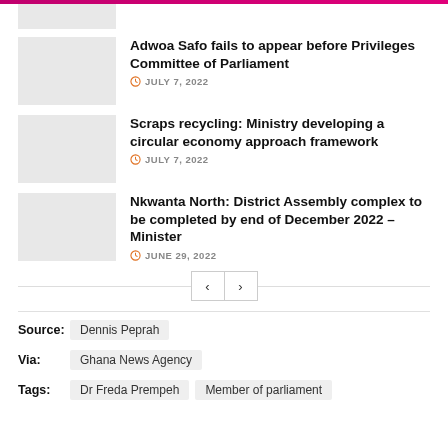[Figure (photo): Partial thumbnail image at top, cut off, showing some structure]
Adwoa Safo fails to appear before Privileges Committee of Parliament
JULY 7, 2022
Scraps recycling: Ministry developing a circular economy approach framework
JULY 7, 2022
Nkwanta North: District Assembly complex to be completed by end of December 2022 – Minister
JUNE 29, 2022
Source: Dennis Peprah
Via: Ghana News Agency
Tags: Dr Freda Prempeh   Member of parliament